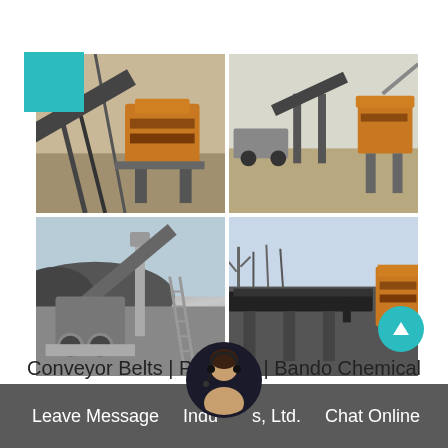[Figure (photo): Four photographs of industrial mining/crushing equipment arranged in a 2x2 grid. Top-left: close-up of orange impact crusher with metal frame structure. Top-right: open-air mining site with multiple crushers and conveyors. Bottom-left: conveyor belt system with crusher machinery on concrete base. Bottom-right: heavy industrial conveyor belt and orange crusher at a remote site with trees in background.]
Conveyor Belts | Products | Bando Chemical Industries, Ltd.
Leave Message   Industries, Ltd.   Chat Online